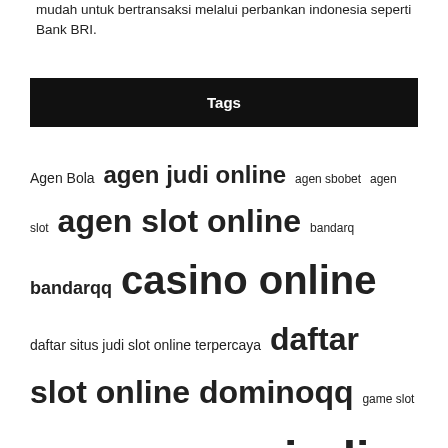mudah untuk bertransaksi melalui perbankan indonesia seperti Bank BRI.
Tags
Agen Bola agen judi online agen sbobet agen slot agen slot online bandarq bandarqq casino online daftar situs judi slot online terpercaya daftar slot online dominoqq game slot online Judi Bola Judi Bola Online judi online judi online terpercaya judi slot judi slot online pkv games poker online pragmatic play qq online sbobet situs judi bola situs judi online situs judi online terpercaya situs judi slot Situs Judi Slot Online situs judi slot online terpercaya situs poker online situs slot situs slot gacor situs slot online situs slot online terbaik situs slot terpercaya slot